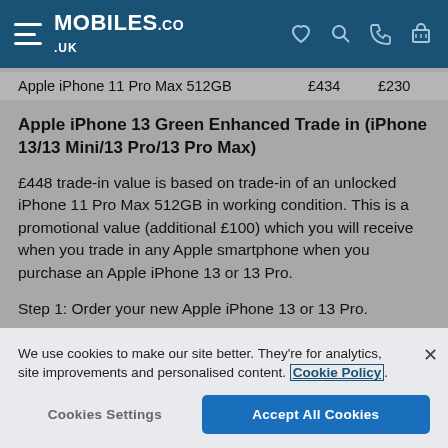MOBILES.co.uk
| Apple iPhone 11 Pro Max 512GB | £434 | £230 |
Apple iPhone 13 Green Enhanced Trade in (iPhone 13/13 Mini/13 Pro/13 Pro Max)
£448 trade-in value is based on trade-in of an unlocked iPhone 11 Pro Max 512GB in working condition. This is a promotional value (additional £100) which you will receive when you trade in any Apple smartphone when you purchase an Apple iPhone 13 or 13 Pro.
Step 1: Order your new Apple iPhone 13 or 13 Pro.
Step 2: Complete your trade-in online https://www.mobiles.co.uk/sell-my-phone
We use cookies to make our site better. They're for analytics, site improvements and personalised content. Cookie Policy
Cookies Settings  Accept All Cookies